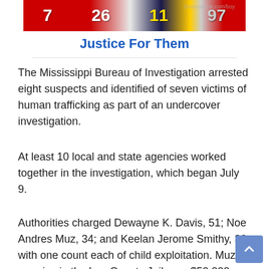[Figure (photo): Row of football jerseys with numbers 7, 26, and others visible, in red, white, dark blue, and yellow colors]
Justice For Them
The Mississippi Bureau of Investigation arrested eight suspects and identified of seven victims of human trafficking as part of an undercover investigation.
At least 10 local and state agencies worked together in the investigation, which began July 9.
Authorities charged Dewayne K. Davis, 51; Noe Andres Muz, 34; and Keelan Jerome Smithy, 30; with one count each of child exploitation. Muz remains in the Lee County Jail on a $50,000 bond.